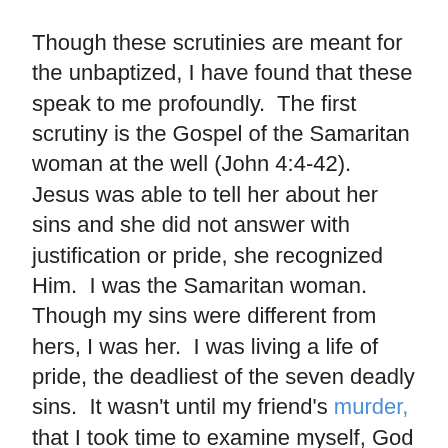Though these scrutinies are meant for the unbaptized, I have found that these speak to me profoundly.  The first scrutiny is the Gospel of the Samaritan woman at the well (John 4:4-42).  Jesus was able to tell her about her sins and she did not answer with justification or pride, she recognized Him.  I was the Samaritan woman.  Though my sins were different from hers, I was her.  I was living a life of pride, the deadliest of the seven deadly sins.  It wasn't until my friend's murder, that I took time to examine myself, God showed me my sin.  I was humbled.  I needed to change.  I still need to change.
The second scrutiny is about the man born blind (John 9:1-41.) Christ opened his eyes.  This speaks to me about the Spiritual blindness I experienced.  I was blind to my pride.  Blind to my sin.  Justifying at every turn.  Not loving